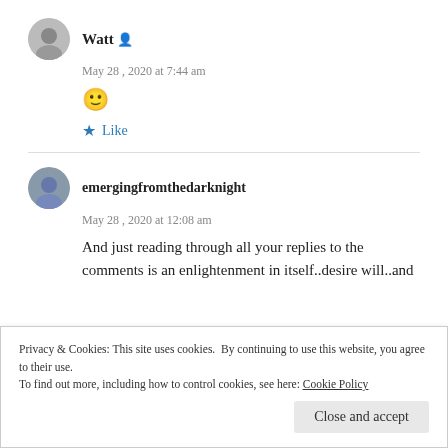[Figure (photo): User avatar for Watt, circular grayscale portrait photo]
Watt
May 28, 2020 at 7:44 am
🙂
★ Like
[Figure (photo): User avatar for emergingfromthedarknight, circular color portrait photo]
emergingfromthedarknight
May 28, 2020 at 12:08 am
And just reading through all your replies to the comments is an enlightenment in itself..desire will..and
Privacy & Cookies: This site uses cookies. By continuing to use this website, you agree to their use.
To find out more, including how to control cookies, see here: Cookie Policy
Close and accept